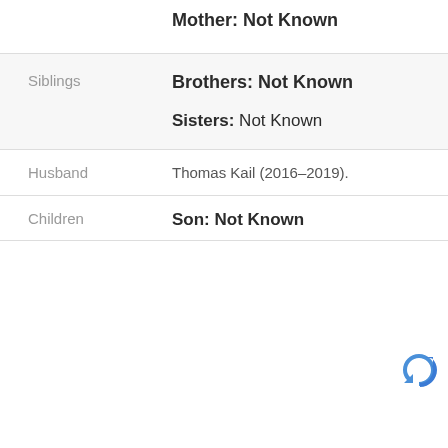| Category | Value |
| --- | --- |
|  | Mother: Not Known |
| Siblings | Brothers: Not Known
Sisters: Not Known |
| Husband | Thomas Kail (2016–2019). |
| Children | Son: Not Known |